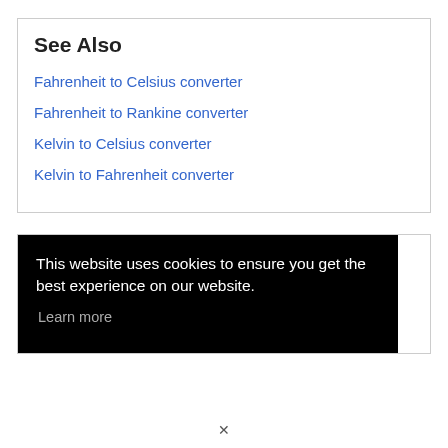See Also
Fahrenheit to Celsius converter
Fahrenheit to Rankine converter
Kelvin to Celsius converter
Kelvin to Fahrenheit converter
This website uses cookies to ensure you get the best experience on our website. Learn more